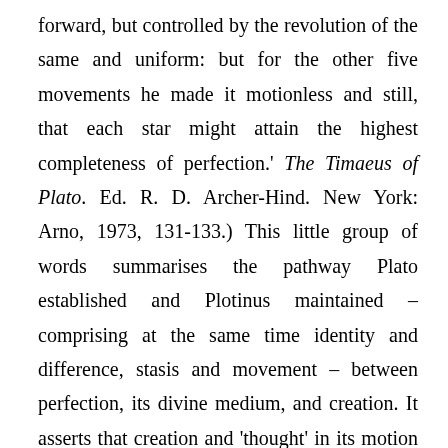forward, but controlled by the revolution of the same and uniform: but for the other five movements he made it motionless and still, that each star might attain the highest completeness of perfection.' The Timaeus of Plato. Ed. R. D. Archer-Hind. New York: Arno, 1973, 131-133.) This little group of words summarises the pathway Plato established and Plotinus maintained – comprising at the same time identity and difference, stasis and movement – between perfection, its divine medium, and creation. It asserts that creation and 'thought' in its motion are equivalent and defines the nature of that process. The motions of Plato's divine beings differ from those of